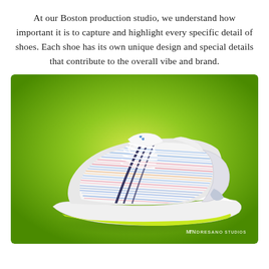At our Boston production studio, we understand how important it is to capture and highlight every specific detail of shoes. Each shoe has its own unique design and special details that contribute to the overall vibe and brand.
[Figure (photo): A Puma running shoe with multicolored striped mesh upper and white thick midsole, photographed against a lime green radial gradient background. The shoe features white laces, navy Puma stripes, and a neon yellow-green outsole. Bottom right corner shows the Indresano Studios logo/watermark.]